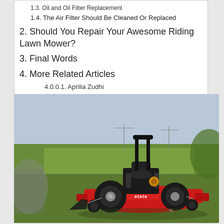1.3. Oil and Oil Filter Replacement
1.4. The Air Filter Should Be Cleaned Or Replaced
2. Should You Repair Your Awesome Riding Lawn Mower?
3. Final Words
4. More Related Articles
4.0.0.1. Aprilia Zudhi
[Figure (photo): A red riding zero-turn lawn mower parked on a golf course green, with a black roll bar and seat, the brand name 'etete' visible on the red mower deck. The background shows a golf course landscape.]